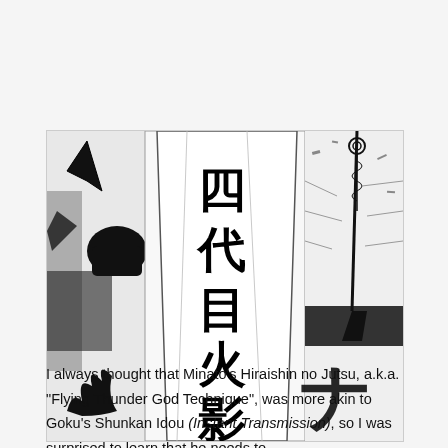[Figure (illustration): Black and white manga panel showing a character's back wearing a robe/cloak with Japanese kanji characters '四代目火影' (Fourth Hokage) written on it. The scene is dynamic with action lines and debris. On the right side, another character or element with a kunai/throwing knife is visible.]
I always thought that Minato's Hiraishin no Jutsu, a.k.a. "Flying Thunder God Technique", was more akin to Goku's Shunkan Idou (Instant Transmission), so I was surprised to learn that he needs to